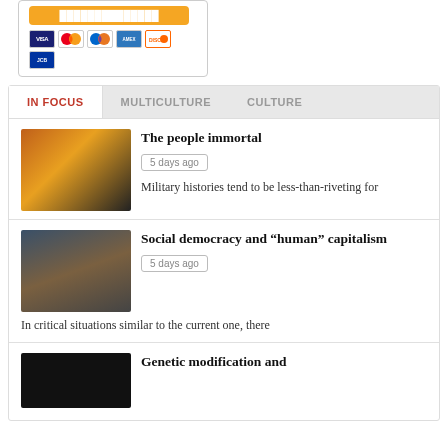[Figure (other): Payment button and credit card icons (Visa, Mastercard, Diners Club, American Express, Discover, JCB)]
IN FOCUS | MULTICULTURE | CULTURE
[Figure (photo): Silhouettes of soldiers against a fire/explosion background]
The people immortal
5 days ago
Military histories tend to be less-than-riveting for
[Figure (photo): Person wearing a mask standing in front of a city skyline at dusk]
Social democracy and “human” capitalism
5 days ago
In critical situations similar to the current one, there
[Figure (photo): Dark image with faint light, possibly a hand near a flame]
Genetic modification and